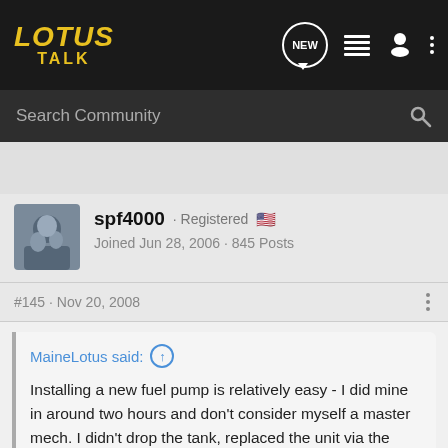LOTUS TALK
Search Community
[Figure (photo): User avatar photo of spf4000]
spf4000 · Registered 🇺🇸
Joined Jun 28, 2006 · 845 Posts
#145 · Nov 20, 2008
MaineLotus said: ↑
Installing a new fuel pump is relatively easy - I did mine in around two hours and don't consider myself a master mech. I didn't drop the tank, replaced the unit via the access port behind the drivers seat. It did involve dremeling the access port slightly larger. But I wanted easy access without dropping the tank. Before/After pics -
it is...